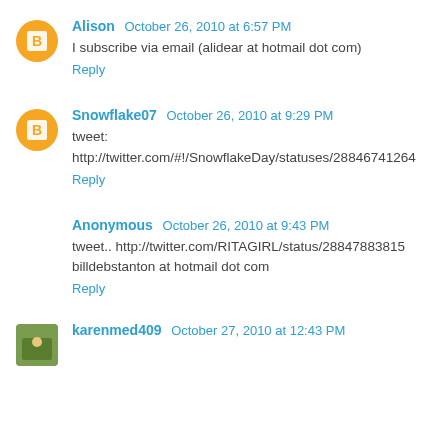Alison  October 26, 2010 at 6:57 PM
I subscribe via email (alidear at hotmail dot com)
Reply
Snowflake07  October 26, 2010 at 9:29 PM
tweet:
http://twitter.com/#!/SnowflakeDay/statuses/28846741264
Reply
Anonymous  October 26, 2010 at 9:43 PM
tweet.. http://twitter.com/RITAGIRL/status/28847883815
billdebstanton at hotmail dot com
Reply
karenmed409  October 27, 2010 at 12:43 PM